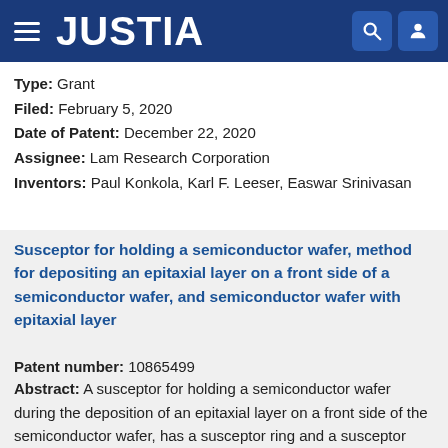JUSTIA
Type: Grant
Filed: February 5, 2020
Date of Patent: December 22, 2020
Assignee: Lam Research Corporation
Inventors: Paul Konkola, Karl F. Leeser, Easwar Srinivasan
Susceptor for holding a semiconductor wafer, method for depositing an epitaxial layer on a front side of a semiconductor wafer, and semiconductor wafer with epitaxial layer
Patent number: 10865499
Abstract: A susceptor for holding a semiconductor wafer during the deposition of an epitaxial layer on a front side of the semiconductor wafer, has a susceptor ring and a susceptor base, and recesses below the susceptor ring in the susceptor base which are arranged